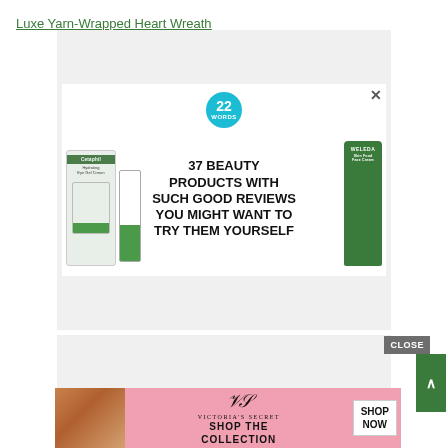Luxe Yarn-Wrapped Heart Wreath
[Figure (advertisement): Beauty product advertisement showing Cetaphil and Weleda skincare products with text '37 BEAUTY PRODUCTS WITH SUCH GOOD REVIEWS YOU MIGHT WANT TO TRY THEM YOURSELF' and a cyan badge with '22 WORDS']
[Figure (advertisement): Victoria's Secret advertisement with model, VS logo swash, text 'SHOP THE COLLECTION' and 'SHOP NOW' button on pink background]